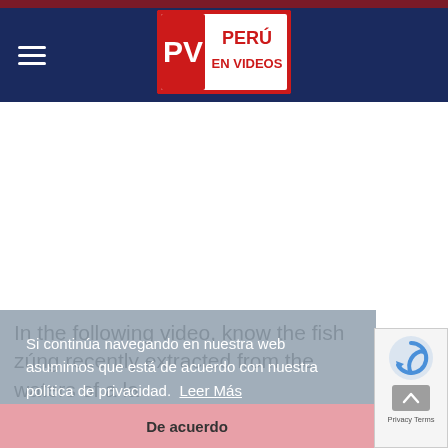PV PERU EN VIDEOS
[Figure (logo): PV Peru En Videos logo — red rectangle with white PV letters and red text PERU EN VIDEOS on white background]
Si continúa navegando en nuestra web asumimos que está de acuerdo con nuestra política de privacidad.  Leer Más
De acuerdo
In the following video, know the fish zúng recently extracted from the waters of a la